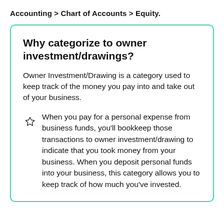Accounting > Chart of Accounts > Equity.
Why categorize to owner investment/drawings?
Owner Investment/Drawing is a category used to keep track of the money you pay into and take out of your business.
When you pay for a personal expense from business funds, you'll bookkeep those transactions to owner investment/drawing to indicate that you took money from your business. When you deposit personal funds into your business, this category allows you to keep track of how much you've invested.